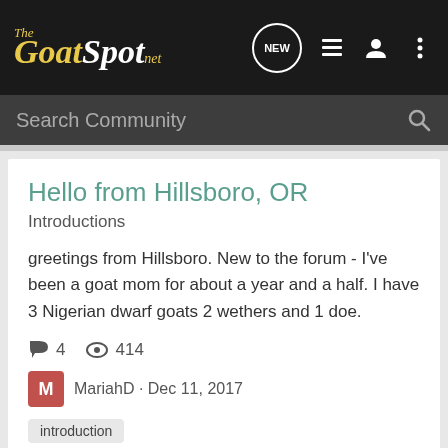The GoatSpot.net — NEW
Search Community
Hello from Hillsboro, OR
Introductions
greetings from Hillsboro. New to the forum - I've been a goat mom for about a year and a half. I have 3 Nigerian dwarf goats 2 wethers and 1 doe.
4 comments · 414 views · MariahD · Dec 11, 2017
introduction
Glad to join TGS
Introductions